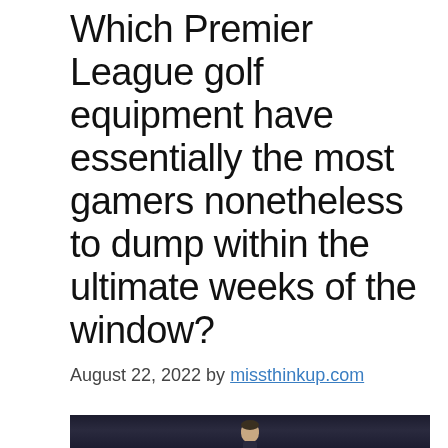Which Premier League golf equipment have essentially the most gamers nonetheless to dump within the ultimate weeks of the window?
August 22, 2022 by missthinkup.com
[Figure (photo): Dark background photo showing a person's face/upper body, partially visible at the bottom of the page]